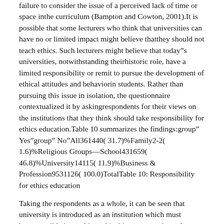failure to consider the issue of a perceived lack of time or space inthe curriculum (Bampton and Cowton, 2001).It is possible that some lecturers who think that universities can have no or limited impact might believe thatthey should not teach ethics. Such lecturers might believe that today"s universities, notwithstanding theirhistoric role, have a limited responsibility or remit to pursue the development of ethical attitudes and behaviorin students. Rather than pursuing this issue in isolation, the questionnaire contextualized it by askingrespondents for their views on the institutions that they think should take responsibility for ethics education.Table 10 summarizes the findings:group" Yes"group" No"All361440( 31.7)%Family2-2( 1.6)%Religious Groups—School431659( 46.8)%University14115( 11.9)%Business & Profession9531126( 100.0)TotalTable 10: Responsibility for ethics education
Taking the respondents as a whole, it can be seen that university is introduced as an institution which must beresponsible in teaching ethical issues to students. It must be noticed that not only yes group, but also no groupacknowledged this fact that ethics training is the responsibility of universities. Further, with 31.7% of